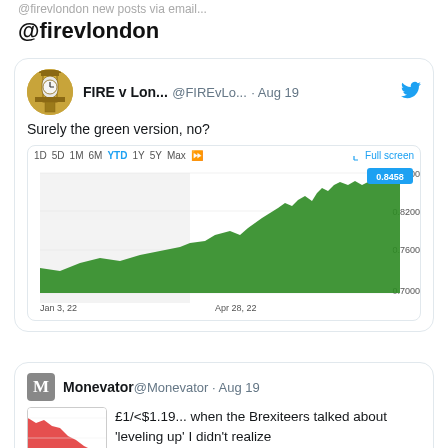@firevlondon new posts via email...
@firevlondon
[Figure (screenshot): Tweet from FIRE v London (@FIREvLo...) dated Aug 19 saying 'Surely the green version, no?' with an embedded YTD currency chart showing GBP/USD or similar from Jan 3, 22 to Apr 28, 22, green area chart rising from ~0.7000 to 0.8458, with a blue label showing 0.8458]
[Figure (screenshot): Tweet card from Monevator (@Monevator) dated Aug 19 with text '£1/<$1.19... when the Brexiteers talked about leveling up I didn't realize' and a small red chart thumbnail]